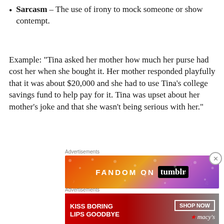Sarcasm – The use of irony to mock someone or show contempt.
Example: “Tina asked her mother how much her purse had cost her when she bought it. Her mother responded playfully that it was about $20,000 and she had to use Tina’s college savings fund to help pay for it. Tina was upset about her mother’s joke and that she wasn’t being serious with her.”
[Figure (other): Advertisement banner: FANDOM ON tumblr, colorful gradient background with decorative musical notes and symbols]
[Figure (other): Advertisement banner: KISS BORING LIPS GOODBYE, Macy's cosmetics ad with SHOP NOW button, dark red and grey background]